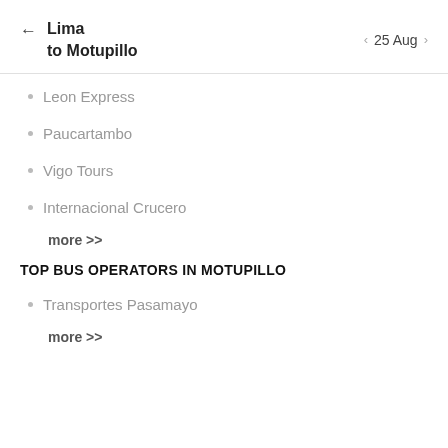Lima to Motupillo  ← 25 Aug >
Leon Express
Paucartambo
Vigo Tours
Internacional Crucero
more >>
TOP BUS OPERATORS IN MOTUPILLO
Transportes Pasamayo
more >>